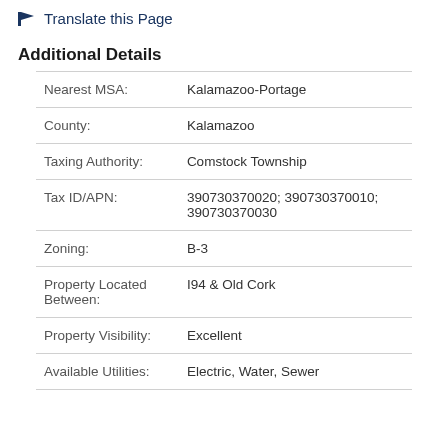Translate this Page
Additional Details
| Field | Value |
| --- | --- |
| Nearest MSA: | Kalamazoo-Portage |
| County: | Kalamazoo |
| Taxing Authority: | Comstock Township |
| Tax ID/APN: | 390730370020; 390730370010; 390730370030 |
| Zoning: | B-3 |
| Property Located Between: | I94 & Old Cork |
| Property Visibility: | Excellent |
| Available Utilities: | Electric, Water, Sewer |